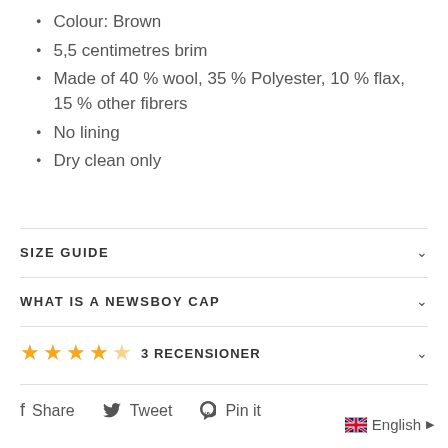Colour: Brown
5,5 centimetres brim
Made of 40 % wool, 35 % Polyester, 10 % flax, 15 % other fibrers
No lining
Dry clean only
SIZE GUIDE
WHAT IS A NEWSBOY CAP
★★★★☆ 3 RECENSIONER
Share   Tweet   Pin it
English